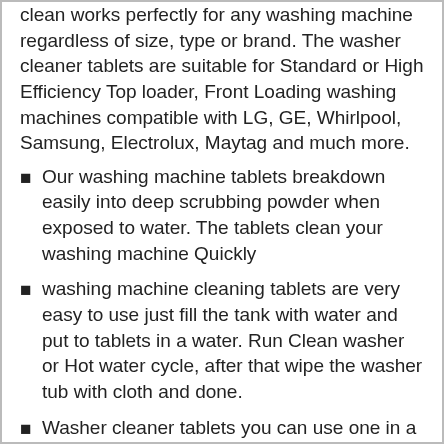clean works perfectly for any washing machine regardless of size, type or brand. The washer cleaner tablets are suitable for Standard or High Efficiency Top loader, Front Loading washing machines compatible with LG, GE, Whirlpool, Samsung, Electrolux, Maytag and much more.
Our washing machine tablets breakdown easily into deep scrubbing powder when exposed to water. The tablets clean your washing machine Quickly
washing machine cleaning tablets are very easy to use just fill the tank with water and put to tablets in a water. Run Clean washer or Hot water cycle, after that wipe the washer tub with cloth and done.
Washer cleaner tablets you can use one in a month